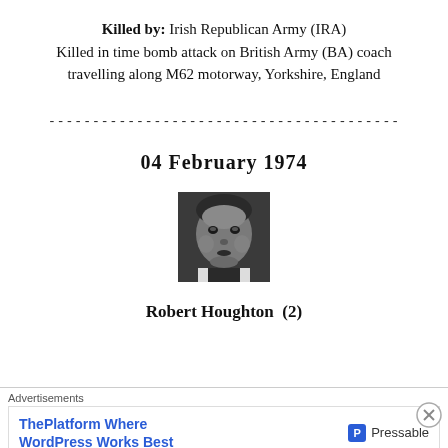Killed by: Irish Republican Army (IRA)
Killed in time bomb attack on British Army (BA) coach travelling along M62 motorway, Yorkshire, England
----------------------------------------
04 February 1974
[Figure (photo): Black and white photograph of a young child]
Robert Houghton (2)